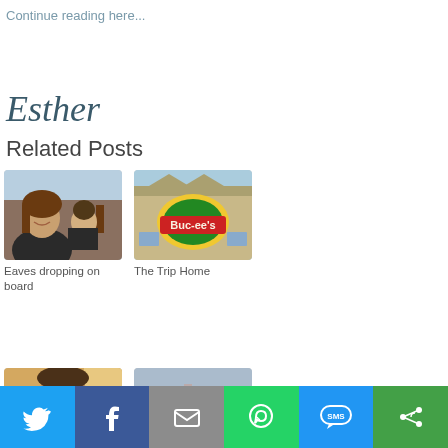Continue reading here...
Esther
Related Posts
[Figure (photo): Woman and child smiling together outdoors]
Eaves dropping on board
[Figure (photo): Buc-ee's store sign on a building]
The Trip Home
[Figure (photo): Man resting chin on hand, close-up portrait]
[Figure (photo): Family group on beach with boat in background]
[Figure (screenshot): Social sharing bar with Twitter, Facebook, Email, WhatsApp, SMS, and More buttons]